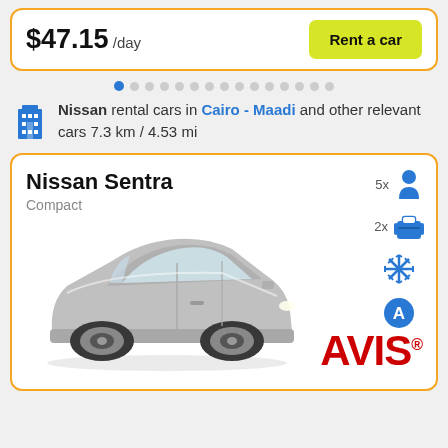$47.15 /day
Rent a car
Nissan rental cars in Cairo - Maadi and other relevant cars 7.3 km / 4.53 mi
Nissan Sentra
Compact
[Figure (photo): Silver Nissan Sentra compact car, 3/4 front view]
5x passengers, 2x luggage, air conditioning, automatic transmission
[Figure (logo): AVIS car rental logo in red]